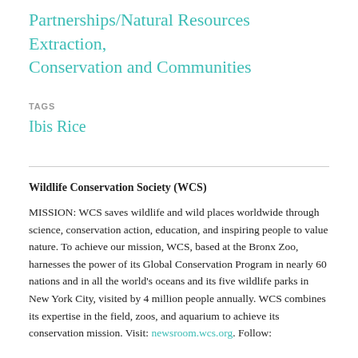Partnerships/Natural Resources Extraction, Conservation and Communities
TAGS
Ibis Rice
Wildlife Conservation Society (WCS)
MISSION: WCS saves wildlife and wild places worldwide through science, conservation action, education, and inspiring people to value nature. To achieve our mission, WCS, based at the Bronx Zoo, harnesses the power of its Global Conservation Program in nearly 60 nations and in all the world's oceans and its five wildlife parks in New York City, visited by 4 million people annually. WCS combines its expertise in the field, zoos, and aquarium to achieve its conservation mission. Visit: newsroom.wcs.org. Follow: